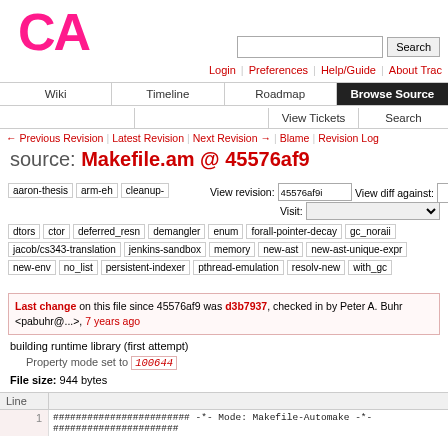[Figure (logo): CA logo in pink/magenta bold text]
Login | Preferences | Help/Guide | About Trac
Wiki | Timeline | Roadmap | Browse Source | View Tickets | Search
← Previous Revision | Latest Revision | Next Revision → | Blame | Revision Log
source: Makefile.am @ 45576af9
aaron-thesis arm-eh cleanup-
View revision: 45576af9i   View diff against:
Visit:
dtors ctor deferred_resn demangler enum forall-pointer-decay gc_noraii jacob/cs343-translation jenkins-sandbox memory new-ast new-ast-unique-expr new-env no_list persistent-indexer pthread-emulation resolv-new with_gc
Last change on this file since 45576af9 was d3b7937, checked in by Peter A. Buhr <pabuhr@...>, 7 years ago
building runtime library (first attempt)
Property mode set to 100644
File size: 944 bytes
| Line |  |
| --- | --- |
| 1 | ######################## -*- Mode: Makefile-Automake -*-
###################### |